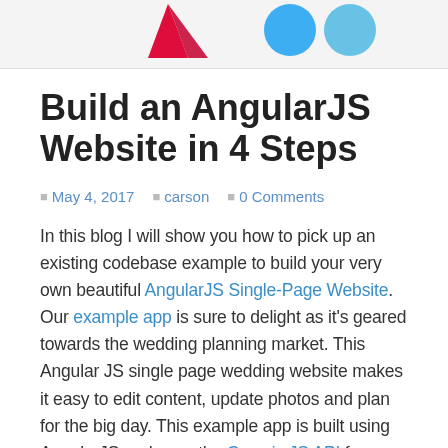[Figure (illustration): Top banner area showing partial logos - red Angular logo on left, blue Twitter/social icons on right, on light gray background]
Build an AngularJS Website in 4 Steps
May 4, 2017  carson  0 Comments
In this blog I will show you how to pick up an existing codebase example to build your very own beautiful AngularJS Single-Page Website. Our example app is sure to delight as it's geared towards the wedding planning market. This Angular JS single page wedding website makes it easy to edit content, update photos and plan for the big day. This example app is built using AngularJS and uses the Cosmic JS API for